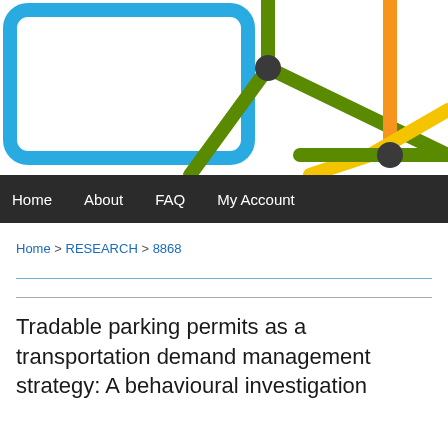[Figure (illustration): Transit/subway map diagram showing colored lines (blue, green, orange, yellow) intersecting at nodes on a white background. Partial view cropped at edges.]
Home   About   FAQ   My Account
Home > RESEARCH > 8868
Tradable parking permits as a transportation demand management strategy: A behavioural investigation